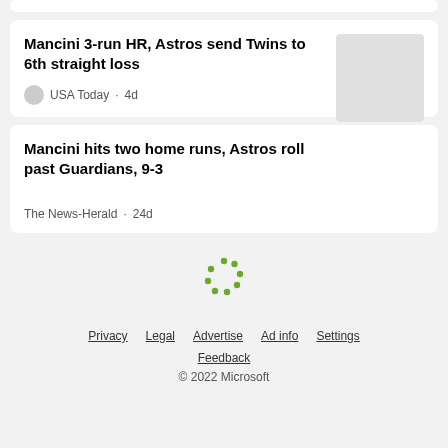Mancini 3-run HR, Astros send Twins to 6th straight loss
USA Today · 4d
Mancini hits two home runs, Astros roll past Guardians, 9-3
The News-Herald · 24d
Privacy  Legal  Advertise  Ad info  Settings  Feedback  © 2022 Microsoft